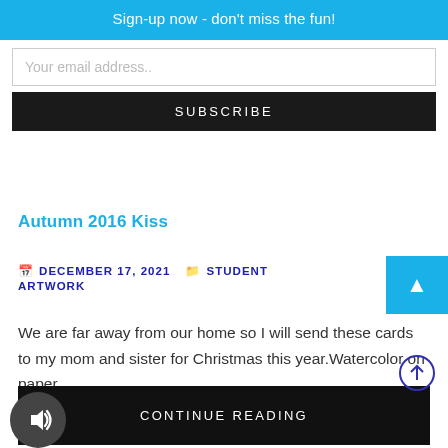Sign-up now - don't miss the fun!
Your email address..
SUBSCRIBE
Autumn 2016 Kiss
DECEMBER 17, 2021   STUDENT ARTWORK
We are far away from our home so I will send these cards to my mom and sister for Christmas this year.Watercolor on paper.
CONTINUE READING